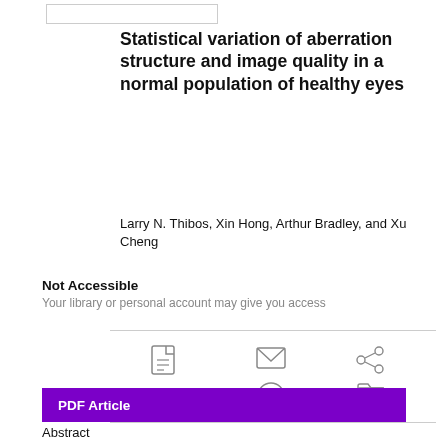[Figure (other): Small rectangular placeholder box at top left]
Statistical variation of aberration structure and image quality in a normal population of healthy eyes
Larry N. Thibos, Xin Hong, Arthur Bradley, and Xu Cheng
Not Accessible
Your library or personal account may give you access
[Figure (infographic): Row of action icons: PDF download, email, share; quote/cite with dropdown, info/alert, save to folder]
PDF Article
Abstract